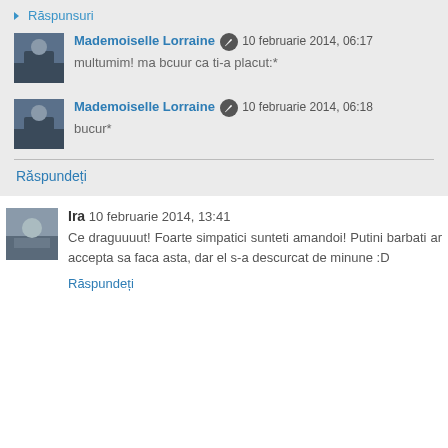▼ Răspunsuri
Mademoiselle Lorraine 10 februarie 2014, 06:17
multumim! ma bcuur ca ti-a placut:*
Mademoiselle Lorraine 10 februarie 2014, 06:18
bucur*
Răspundeți
Ira 10 februarie 2014, 13:41
Ce draguuuut! Foarte simpatici sunteti amandoi! Putini barbati ar accepta sa faca asta, dar el s-a descurcat de minune :D
Răspundeți